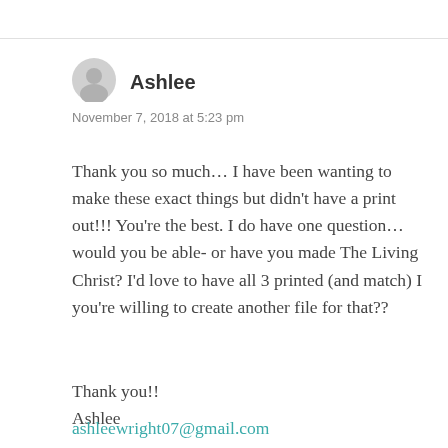[Figure (illustration): Generic user avatar circle icon]
Ashlee
November 7, 2018 at 5:23 pm
Thank you so much… I have been wanting to make these exact things but didn't have a print out!!! You're the best. I do have one question… would you be able- or have you made The Living Christ? I'd love to have all 3 printed (and match) I you're willing to create another file for that??
Thank you!!
Ashlee
ashleewright07@gmail.com